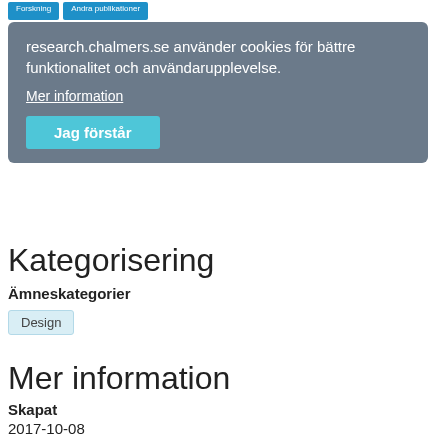Forskning  Andra publikationer
research.chalmers.se använder cookies för bättre funktionalitet och användarupplevelse.
Mer information
Jag förstår
Publicerad i
Proceedings of the 2011 Tsinghua-DMI International Design Management Symposium HK in Hong Kong, 2011
Kategorisering
Ämneskategorier
Design
Mer information
Skapat
2017-10-08